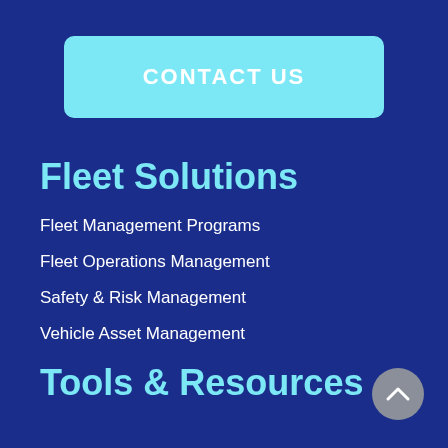CONTACT US
Fleet Solutions
Fleet Management Programs
Fleet Operations Management
Safety & Risk Management
Vehicle Asset Management
Tools & Resources